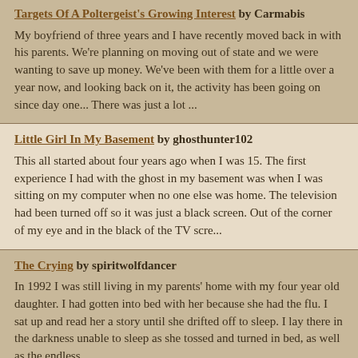Targets Of A Poltergeist's Growing Interest by Carmabis
My boyfriend of three years and I have recently moved back in with his parents. We're planning on moving out of state and we were wanting to save up money. We've been with them for a little over a year now, and looking back on it, the activity has been going on since day one... There was just a lot ...
Little Girl In My Basement by ghosthunter102
This all started about four years ago when I was 15. The first experience I had with the ghost in my basement was when I was sitting on my computer when no one else was home. The television had been turned off so it was just a black screen. Out of the corner of my eye and in the black of the TV scre...
The Crying by spiritwolfdancer
In 1992 I was still living in my parents' home with my four year old daughter. I had gotten into bed with her because she had the flu. I sat up and read her a story until she drifted off to sleep. I lay there in the darkness unable to sleep as she tossed and turned in bed, as well as the endless...
Spooksville by Zoec07
That's what my mum calls my house... Spooksville or Spooks